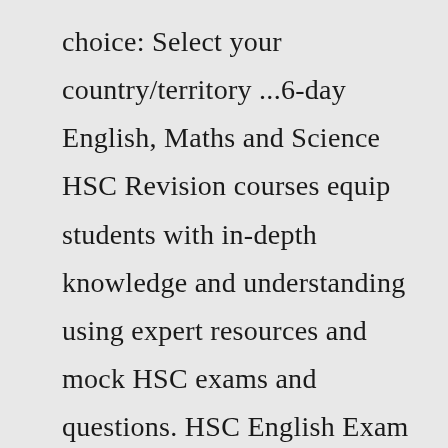choice: Select your country/territory ...6-day English, Maths and Science HSC Revision courses equip students with in-depth knowledge and understanding using expert resources and mock HSC exams and questions. HSC English Exam Prep Learn how to write persuasively about sophisticated literary techniques, plan essays that showcase your understanding, deepen arguments in your essays, and ...